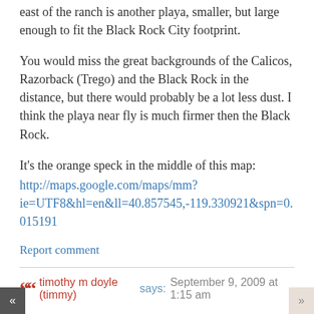east of the ranch is another playa, smaller, but large enough to fit the Black Rock City footprint.
You would miss the great backgrounds of the Calicos, Razorback (Trego) and the Black Rock in the distance, but there would probably be a lot less dust. I think the playa near fly is much firmer then the Black Rock.
It's the orange speck in the middle of this map: http://maps.google.com/maps/mm?ie=UTF8&hl=en&ll=40.857545,-119.330921&spn=0.015191
Report comment
timothy m doyle (timmy) says: September 9, 2009 at 1:15 am
eetings to all burners, lovers of life and the ebrators of happiness.